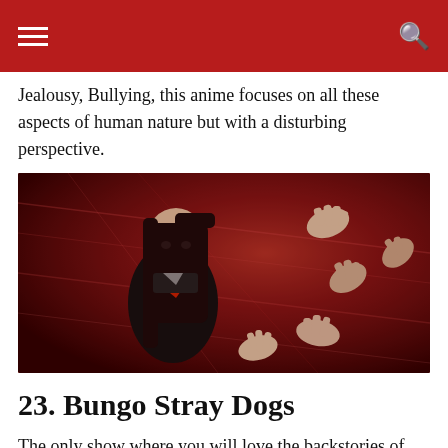Jealousy, Bullying, this anime focuses on all these aspects of human nature but with a disturbing perspective.
[Figure (illustration): Anime illustration from a dark horror/action scene. A female character wearing a black school uniform with a red ribbon/neckerchief is shown with long dark hair, surrounded by numerous pale disembodied hands reaching toward her. The background is red and chaotic.]
23. Bungo Stray Dogs
The only show where you will love the backstories of the characters more than the actual story itself. Unlike all the other anime, it is not depressing or